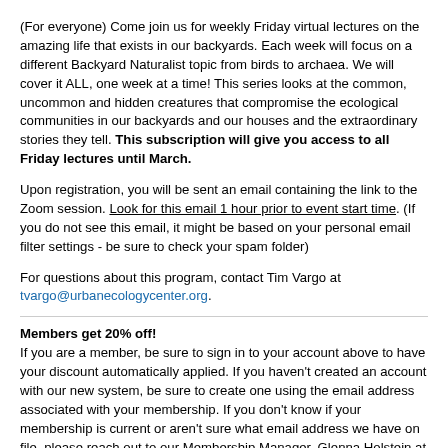(For everyone) Come join us for weekly Friday virtual lectures on the amazing life that exists in our backyards. Each week will focus on a different Backyard Naturalist topic from birds to archaea. We will cover it ALL, one week at a time! This series looks at the common, uncommon and hidden creatures that compromise the ecological communities in our backyards and our houses and the extraordinary stories they tell. This subscription will give you access to all Friday lectures until March.
Upon registration, you will be sent an email containing the link to the Zoom session. Look for this email 1 hour prior to event start time. (If you do not see this email, it might be based on your personal email filter settings - be sure to check your spam folder)
For questions about this program, contact Tim Vargo at tvargo@urbanecologycenter.org.
Members get 20% off! If you are a member, be sure to sign in to your account above to have your discount automatically applied. If you haven't created an account with our new system, be sure to create one using the email address associated with your membership. If you don't know if your membership is current or aren't sure what email address we have on file, please reach out to our Membership Manager, Glenna Holstein at gholstein@urbanecologycenter.org. To become a member, click here!